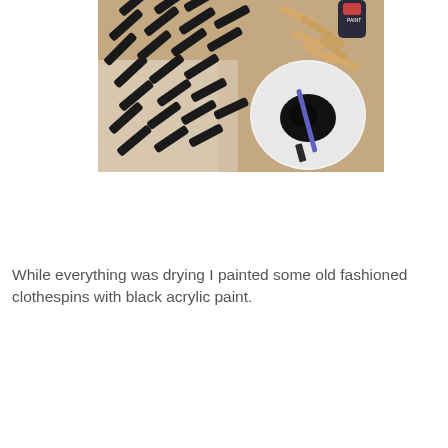[Figure (photo): Overhead view of clothespins painted black with acrylic paint, laid out on a table covered with a plastic sheet. A white plate with black paint and a brush is visible on the right side, along with a bottle of paint and unpainted wooden clothespins.]
While everything was drying I painted some old fashioned clothespins with black acrylic paint.